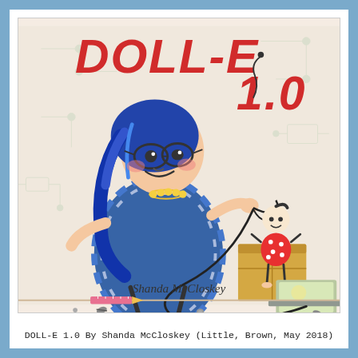[Figure (illustration): Book cover of DOLL-E 1.0 by Shanda McCloskey. Shows a young girl with blue hair and glasses wearing a blue plaid dress, holding wires connected to a simple stick-figure doll sitting on a cardboard box. A laptop is open on the floor. Screws and small parts are scattered on the ground. The background has circuit board patterns. The title DOLL-E 1.0 is in large red block letters at the top.]
DOLL-E 1.0 By Shanda McCloskey (Little, Brown, May 2018)